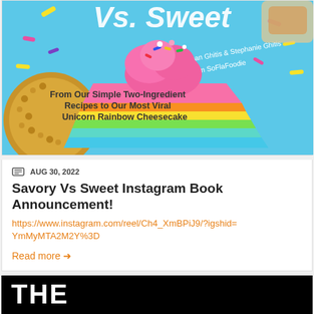[Figure (photo): Book cover for 'Savory Vs. Sweet' by Sholean Ghitis & Stephanie Ghitis from SoFlaFoodie, showing a rainbow cheesecake slice with pink frosting and sprinkles on a blue background. Subtitle: From Our Simple Two-Ingredient Recipes to Our Most Viral Unicorn Rainbow Cheesecake]
AUG 30, 2022
Savory Vs Sweet Instagram Book Announcement!
https://www.instagram.com/reel/Ch4_XmBPiJ9/?igshid=YmMyMTA2M2Y%3D
Read more →
[Figure (photo): Partial view of a second post card showing 'THE' in large white bold text on a dark/black background]